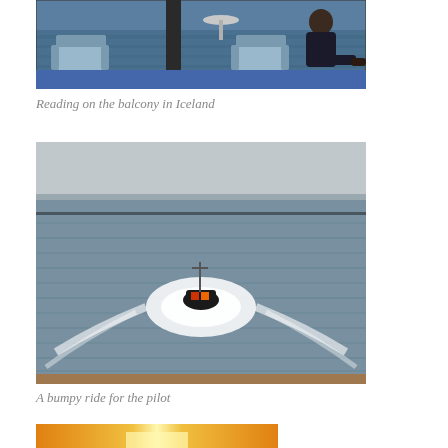[Figure (photo): Person reading on a balcony or deck area with chairs and a table, blue water visible in background, in Iceland]
Reading on the balcony in Iceland
[Figure (photo): A small pilot boat on choppy grey water leaving a white wake, viewed from above from a larger ship]
A bumpy ride for the pilot
[Figure (photo): Partial view of a golden/orange sunset or sunrise photo, cropped at bottom of page]